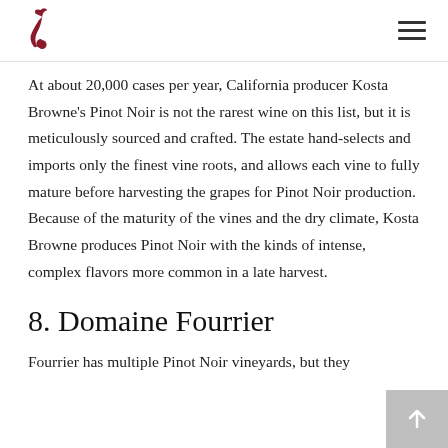[Wine logo and navigation menu icon]
At about 20,000 cases per year, California producer Kosta Browne's Pinot Noir is not the rarest wine on this list, but it is meticulously sourced and crafted. The estate hand-selects and imports only the finest vine roots, and allows each vine to fully mature before harvesting the grapes for Pinot Noir production. Because of the maturity of the vines and the dry climate, Kosta Browne produces Pinot Noir with the kinds of intense, complex flavors more common in a late harvest.
8. Domaine Fourrier
Fourrier has multiple Pinot Noir vineyards, but they